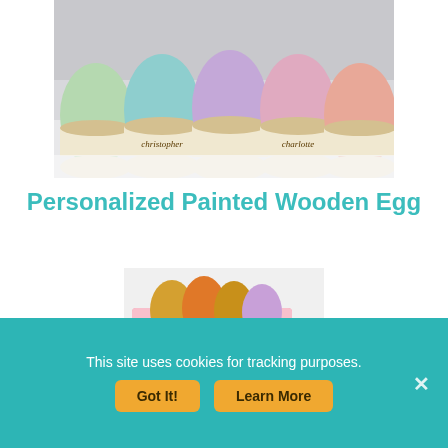[Figure (photo): Five colorful personalized painted wooden Easter eggs arranged on a white surface. The eggs have pastel tops (green, teal, purple, pink, coral) and cream/beige bottoms with gold metallic bands. Two eggs show names 'christopher' and 'charlotte' written in script.]
Personalized Painted Wooden Egg
[Figure (photo): A pink box of sidewalk chalk eggs in metallic gold, orange, and pastel purple colors. The box reads 'SIDEWALK CHALK handmade in Philadelphia, USA' with rainbow icons.]
This site uses cookies for tracking purposes.
Got It!
Learn More